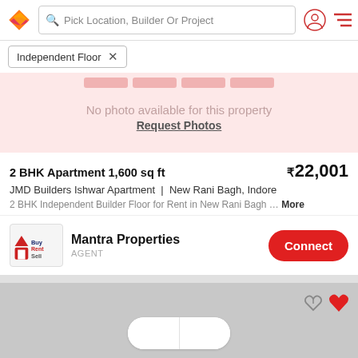Pick Location, Builder Or Project
Independent Floor
[Figure (illustration): Property listing image area showing 'No photo available for this property' with decorative brick/building graphic in pink/red tones]
No photo available for this property
Request Photos
2 BHK Apartment 1,600 sq ft
₹22,001
JMD Builders Ishwar Apartment | New Rani Bagh, Indore
2 BHK Independent Builder Floor for Rent in New Rani Bagh … More
Mantra Properties
AGENT
[Figure (logo): BuyRentSell logo with house icon]
[Figure (other): Gray placeholder card with white pill/toggle and heart icons]